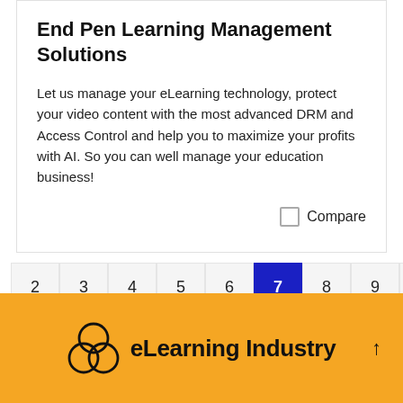End Pen Learning Management Solutions
Let us manage your eLearning technology, protect your video content with the most advanced DRM and Access Control and help you to maximize your profits with AI. So you can well manage your education business!
Compare
Pagination: 2 3 4 5 6 7 (active) 8 9 10 11 12
[Figure (logo): eLearning Industry logo with overlapping circles icon on yellow/amber background]